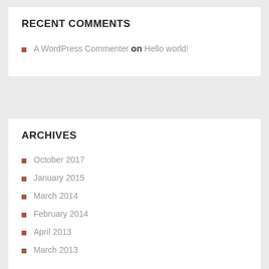RECENT COMMENTS
A WordPress Commenter on Hello world!
ARCHIVES
October 2017
January 2015
March 2014
February 2014
April 2013
March 2013